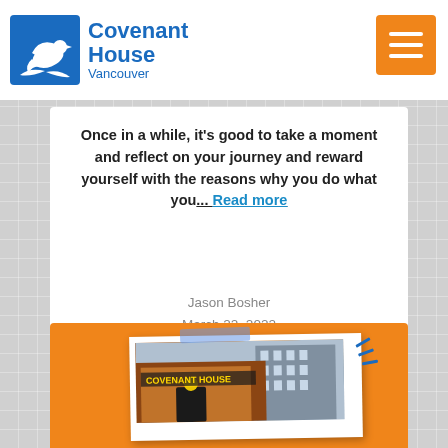Covenant House Vancouver
Once in a while, it's good to take a moment and reflect on your journey and reward yourself with the reasons why you do what you... Read more
Jason Bosher
March 22, 2022
[Figure (photo): Orange card with a polaroid-style photograph of Covenant House building with decorative tape and tick marks]